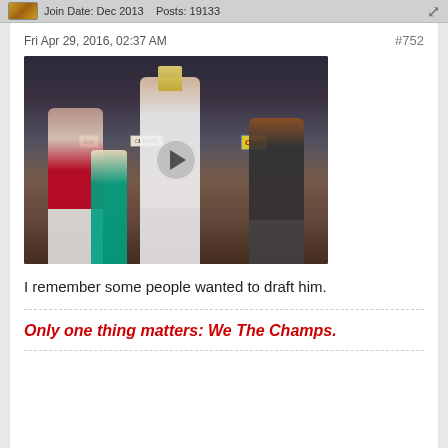Join Date: Dec 2013   Posts: 19133
Fri Apr 29, 2016, 02:37 AM
#752
[Figure (photo): Video thumbnail showing a basketball player holding up a trophy at an NBA event, surrounded by people including a woman in teal and a man in a suit applauding, with arena signage visible in background. A video play button overlay is shown in the center.]
I remember some people wanted to draft him.
Only one thing matters: We The Champs.